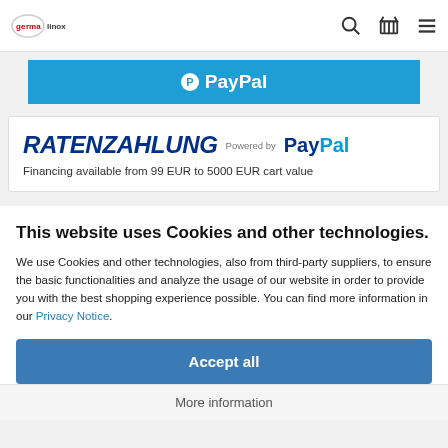germanlinox | search | basket | menu
[Figure (logo): PayPal button banner with PayPal logo in white on blue background]
[Figure (logo): RATENZAHLUNG Powered by PayPal logo box]
Financing available from 99 EUR to 5000 EUR cart value
This website uses Cookies and other technologies.
We use Cookies and other technologies, also from third-party suppliers, to ensure the basic functionalities and analyze the usage of our website in order to provide you with the best shopping experience possible. You can find more information in our Privacy Notice.
Accept all
More information